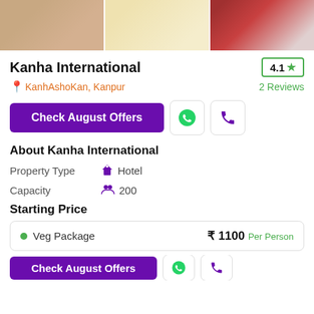[Figure (photo): Three photos of a banquet/hotel venue showing decorated tables and seating arrangements]
Kanha International
4.1 ★
KanhAshoKan, Kanpur
2 Reviews
Check August Offers
About Kanha International
Property Type   Hotel
Capacity   200
Starting Price
Veg Package   ₹ 1100 Per Person
Check August Offers